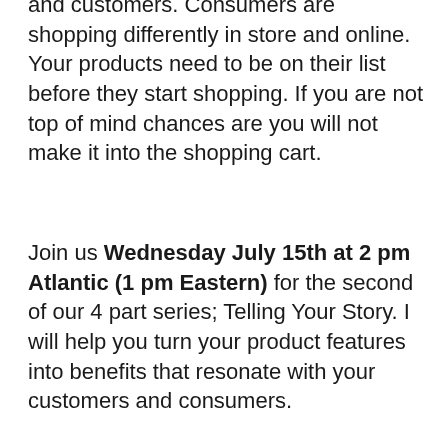and customers. Consumers are shopping differently in store and online. Your products need to be on their list before they start shopping. If you are not top of mind chances are you will not make it into the shopping cart.
Join us Wednesday July 15th at 2 pm Atlantic (1 pm Eastern) for the second of our 4 part series; Telling Your Story. I will help you turn your product features into benefits that resonate with your customers and consumers.